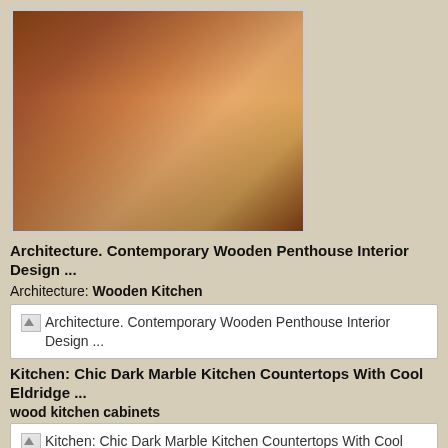[Figure (photo): Kitchen interior with wooden cabinets, stainless steel appliances, black marble island countertop with a laptop on it, and hardwood floor]
Architecture. Contemporary Wooden Penthouse Interior Design ...
Architecture: Wooden Kitchen
[img] Architecture. Contemporary Wooden Penthouse Interior Design ...
Kitchen: Chic Dark Marble Kitchen Countertops With Cool Eldridge ...
wood kitchen cabinets
[img] Kitchen: Chic Dark Marble Kitchen Countertops With Cool Eldridge ...
Kitchen Design Picture: Contemporary Kitchen Ideas Photos